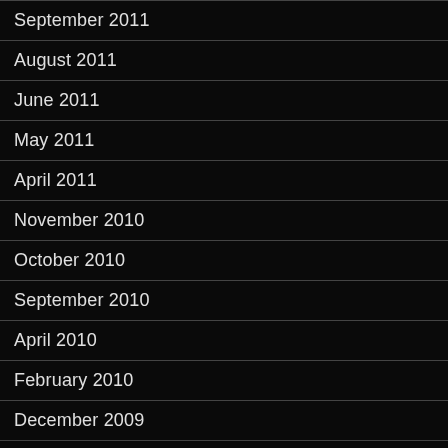September 2011
August 2011
June 2011
May 2011
April 2011
November 2010
October 2010
September 2010
April 2010
February 2010
December 2009
November 2009